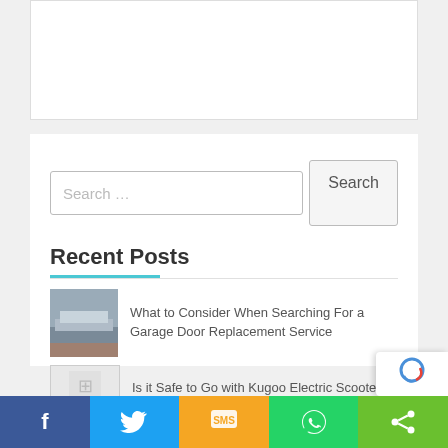[Figure (other): White content card (top portion, partially visible) on a light grey background]
Search ...
[Figure (other): Recent Posts section with thumbnail images and post titles. Post 1: 'What to Consider When Searching For a Garage Door Replacement Service'. Post 2 (partial): 'Is it Safe to Go with Kugoo Electric Scooters?']
Recent Posts
What to Consider When Searching For a Garage Door Replacement Service
Is it Safe to Go with Kugoo Electric Scooters?
[Figure (other): Social share bar with Facebook, Twitter, SMS, WhatsApp, and Share buttons]